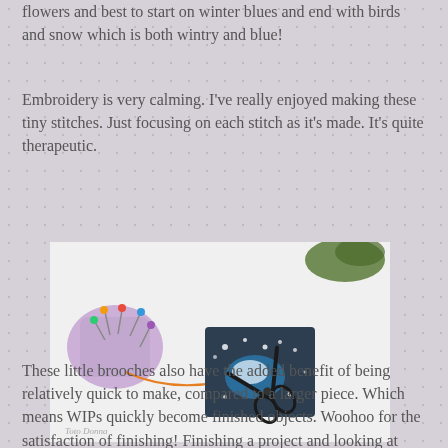flowers and best to start on winter blues and end with birds and snow which is both wintry and blue!
Embroidery is very calming. I've really enjoyed making these tiny stitches. Just focusing on each stitch as it's made. It's quite therapeutic.
[Figure (photo): Photo of an embroidery brooch on a dark background with snowflakes and a blue winter scene, surrounded by embroidery tools including a pincushion with pins, scissors, and green thread on a white surface. Watermark reads 'Toto Donna'.]
The snow flakes are such tiny details it is really tricky to photograph them.
These little brooches also have the added benefit of being relatively quick to make, compared to a larger piece. Which means WIPs quickly become finished objects. Woohoo for the satisfaction of finishing! Finishing a project and looking at